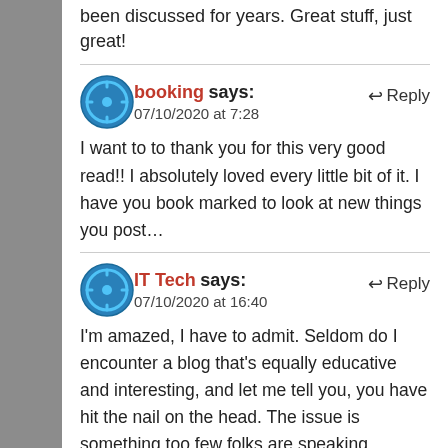been discussed for years. Great stuff, just great!
booking says:
07/10/2020 at 7:28

I want to to thank you for this very good read!! I absolutely loved every little bit of it. I have you book marked to look at new things you post…
IT Tech says:
07/10/2020 at 16:40

I'm amazed, I have to admit. Seldom do I encounter a blog that's equally educative and interesting, and let me tell you, you have hit the nail on the head. The issue is something too few folks are speaking intelligently about. I am very happy I came across this during my hunt for something